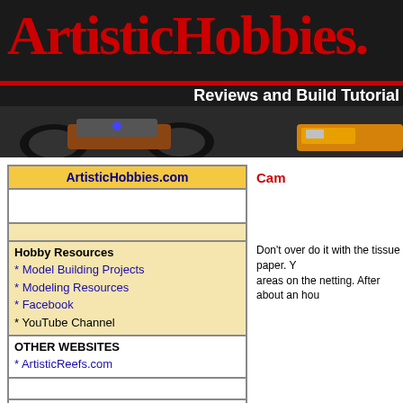[Figure (screenshot): ArtisticHobbies.com website header banner with red logo text, red horizontal line, 'Reviews and Build Tutorials' subtitle, and RC car/train imagery on dark background]
ArtisticHobbies.com
* Model Building Projects
* Modeling Resources
* Facebook
* YouTube Channel
OTHER WEBSITES
* ArtisticReefs.com
Cam
Don't over do it with the tissue paper. You areas on the netting. After about an hou